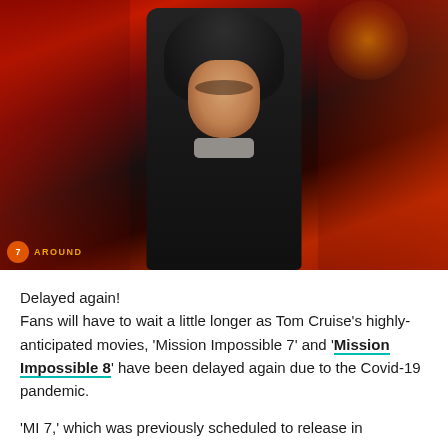[Figure (photo): Movie promotional image for Mission Impossible franchise featuring Tom Cruise in a dark hoodie at center, with other cast members visible in red-tinted background collage. Logo with orange circle and 'AROUND' text visible at bottom left.]
Delayed again!
Fans will have to wait a little longer as Tom Cruise's highly-anticipated movies, 'Mission Impossible 7' and 'Mission Impossible 8' have been delayed again due to the Covid-19 pandemic.
'MI 7,' which was previously scheduled to release in